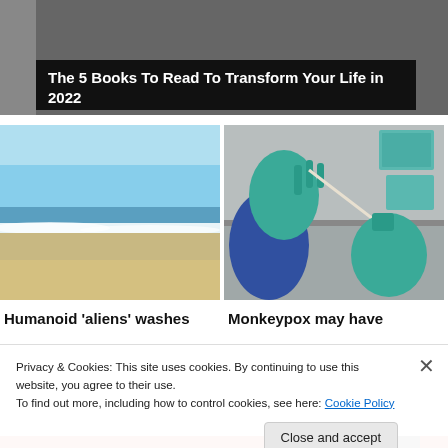[Figure (screenshot): Dark background top image with overlaid banner reading 'The 5 Books To Read To Transform Your Life in 2022']
The 5 Books To Read To Transform Your Life in 2022
[Figure (photo): Beach scene with waves, blue sky, and sandy shore]
[Figure (photo): Gloved hands in teal/green medical gloves holding a test tube swab near lab equipment]
Humanoid 'aliens' washes
Monkeypox may have
Privacy & Cookies: This site uses cookies. By continuing to use this website, you agree to their use.
To find out more, including how to control cookies, see here: Cookie Policy
Close and accept